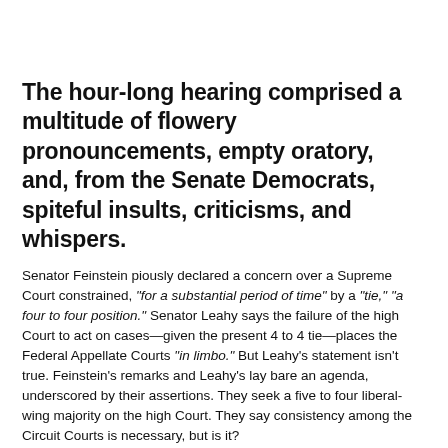The hour-long hearing comprised a multitude of flowery pronouncements, empty oratory, and, from the Senate Democrats, spiteful insults, criticisms, and whispers.
Senator Feinstein piously declared a concern over a Supreme Court constrained, "for a substantial period of time" by a "tie," "a four to four position." Senator Leahy says the failure of the high Court to act on cases—given the present 4 to 4 tie—places the Federal Appellate Courts "in limbo." But Leahy's statement isn't true. Feinstein's remarks and Leahy's lay bare an agenda, underscored by their assertions. They seek a five to four liberal-wing majority on the high Court. They say consistency among the Circuit Courts is necessary, but is it?